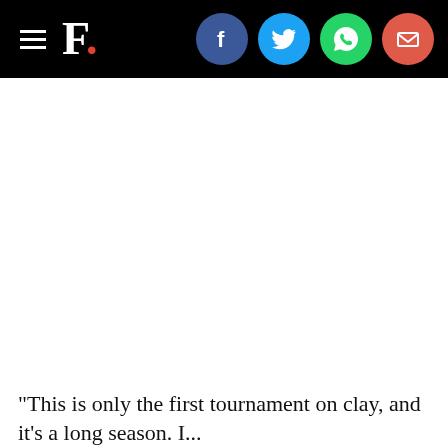F. [logo with social share icons: Facebook, Twitter, WhatsApp, Email]
"This is only the first tournament on clay, and it's a long season. I...